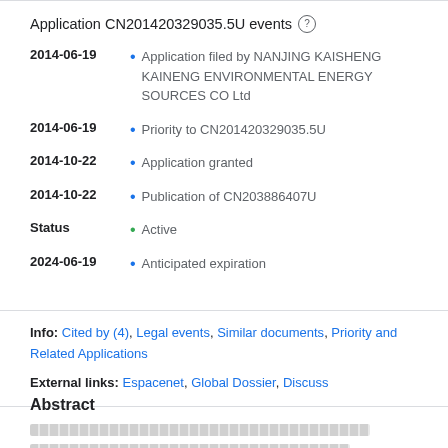Application CN201420329035.5U events
2014-06-19 • Application filed by NANJING KAISHENG KAINENG ENVIRONMENTAL ENERGY SOURCES CO Ltd
2014-06-19 • Priority to CN201420329035.5U
2014-10-22 • Application granted
2014-10-22 • Publication of CN203886407U
Status • Active
2024-06-19 • Anticipated expiration
Info: Cited by (4), Legal events, Similar documents, Priority and Related Applications
External links: Espacenet, Global Dossier, Discuss
Abstract